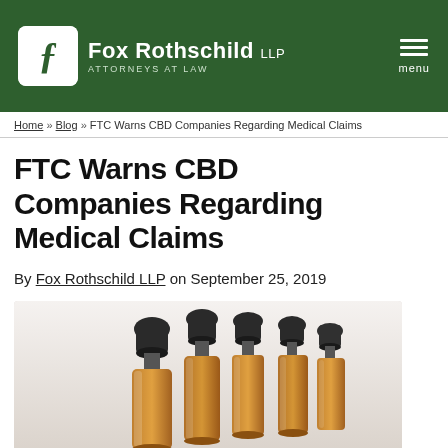Fox Rothschild LLP — ATTORNEYS AT LAW
Home » Blog » FTC Warns CBD Companies Regarding Medical Claims
FTC Warns CBD Companies Regarding Medical Claims
By Fox Rothschild LLP on September 25, 2019
[Figure (photo): Several amber glass dropper bottles with black rubber tops arranged in a row, photographed close-up against a light background.]